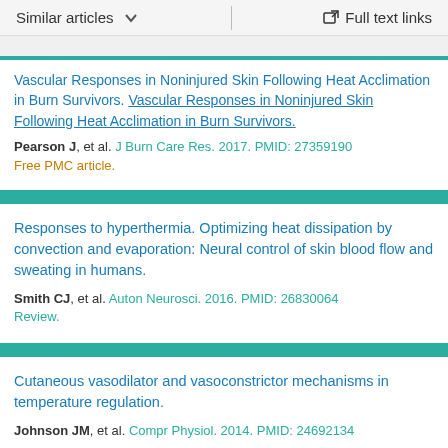Similar articles   Full text links
Vascular Responses in Noninjured Skin Following Heat Acclimation in Burn Survivors.
Pearson J, et al. J Burn Care Res. 2017. PMID: 27359190 Free PMC article.
Responses to hyperthermia. Optimizing heat dissipation by convection and evaporation: Neural control of skin blood flow and sweating in humans.
Smith CJ, et al. Auton Neurosci. 2016. PMID: 26830064 Review.
Cutaneous vasodilator and vasoconstrictor mechanisms in temperature regulation.
Johnson JM, et al. Compr Physiol. 2014. PMID: 24692134